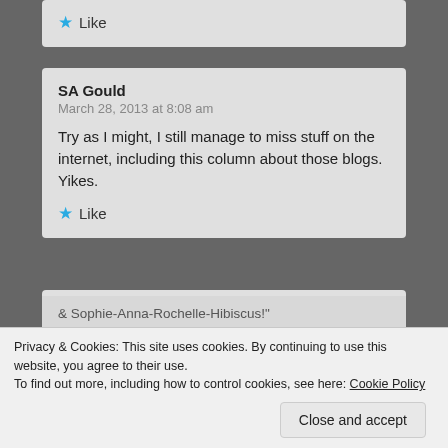Like
SA Gould
March 28, 2013 at 8:08 am

Try as I might, I still manage to miss stuff on the internet, including this column about those blogs. Yikes.

Like
Jane
March 28, 2013 at 9:00 am
Privacy & Cookies: This site uses cookies. By continuing to use this website, you agree to their use.
To find out more, including how to control cookies, see here: Cookie Policy
Close and accept
& Sophie-Anna-Rochelle-Hibiscus!"